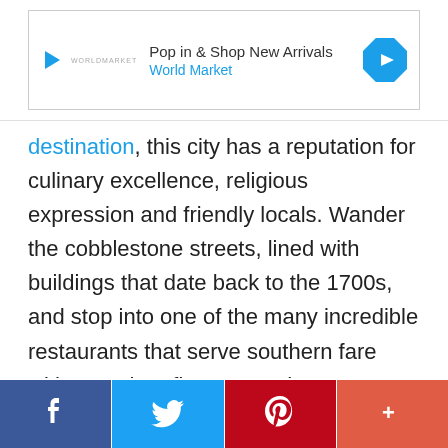[Figure (other): Advertisement banner: Play icon, World Market logo text, 'Pop in & Shop New Arrivals' headline, 'World Market' subtext in blue, blue diamond arrow icon on right]
destination, this city has a reputation for culinary excellence, religious expression and friendly locals. Wander the cobblestone streets, lined with buildings that date back to the 1700s, and stop into one of the many incredible restaurants that serve southern fare with a modern flare. Round out your visit with a trip to Fort Sumter, a bike ride over the Arthur Ravenel Jr. Bridge and a
[Figure (other): Social media sharing bar with Facebook, Twitter, Pinterest, and More (+) buttons]